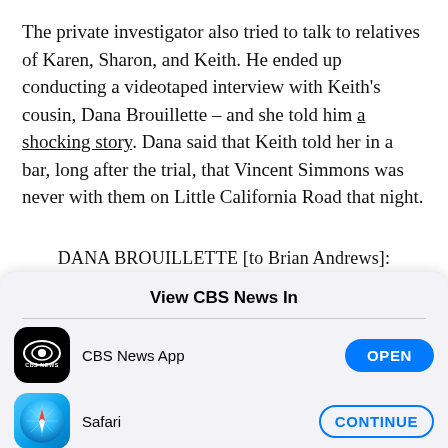The private investigator also tried to talk to relatives of Karen, Sharon, and Keith. He ended up conducting a videotaped interview with Keith's cousin, Dana Brouillette – and she told him a shocking story. Dana said that Keith told her in a bar, long after the trial, that Vincent Simmons was never with them on Little California Road that night.
DANA BROUILLETTE [to Brian Andrews]:
[Figure (screenshot): iOS app picker modal overlay: 'View CBS News In' with CBS News App (OPEN button) and Safari (CONTINUE button)]